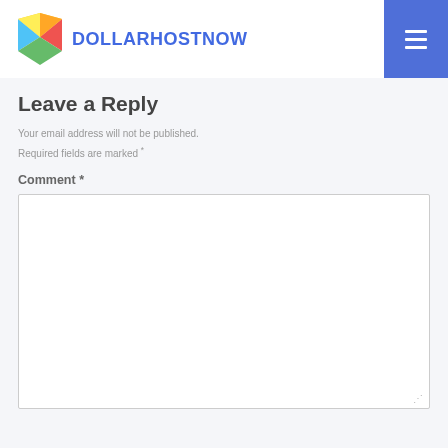DOLLARHOSTNOW
Leave a Reply
Your email address will not be published. Required fields are marked *
Comment *
[Figure (screenshot): Comment text area input box]